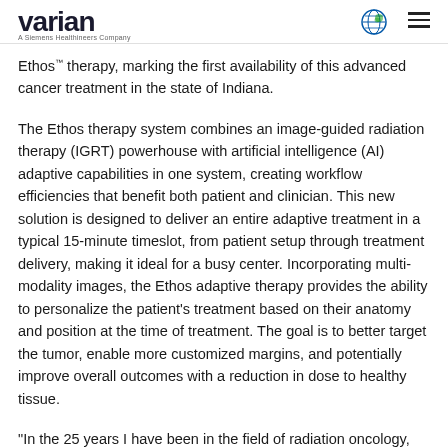Varian — A Siemens Healthineers Company
Ethos™ therapy, marking the first availability of this advanced cancer treatment in the state of Indiana.
The Ethos therapy system combines an image-guided radiation therapy (IGRT) powerhouse with artificial intelligence (AI) adaptive capabilities in one system, creating workflow efficiencies that benefit both patient and clinician. This new solution is designed to deliver an entire adaptive treatment in a typical 15-minute timeslot, from patient setup through treatment delivery, making it ideal for a busy center. Incorporating multi-modality images, the Ethos adaptive therapy provides the ability to personalize the patient's treatment based on their anatomy and position at the time of treatment. The goal is to better target the tumor, enable more customized margins, and potentially improve overall outcomes with a reduction in dose to healthy tissue.
"In the 25 years I have been in the field of radiation oncology, adaptive radiotherapy is the most revolutionary technology I